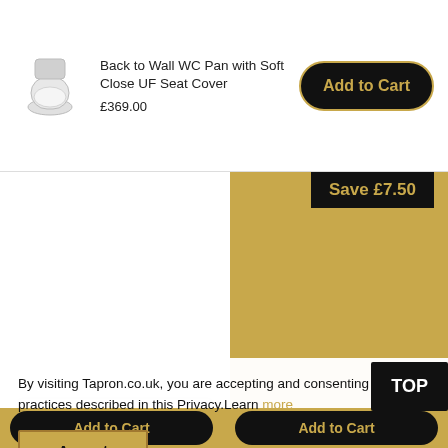[Figure (photo): Small white back to wall WC pan toilet image]
Back to Wall WC Pan with Soft Close UF Seat Cover
£369.00
Add to Cart
Save £7.50
[Figure (photo): White flush plate with two chrome circular buttons, Alca brand]
[Figure (photo): Chrome towel rail bar with square bracket mount]
By visiting Tapron.co.uk, you are accepting and consenting to practices described in this Privacy.Learn more
Accept
TOP
Add to Cart
Add to Cart